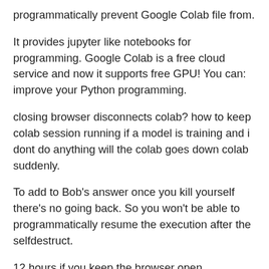programmatically prevent Google Colab file from.
It provides jupyter like notebooks for programming. Google Colab is a free cloud service and now it supports free GPU! You can: improve your Python programming.
closing browser disconnects colab? how to keep colab session running if a model is training and i dont do anything will the colab goes down colab suddenly.
To add to Bob's answer once you kill yourself there's no going back. So you won't be able to programmatically resume the execution after the selfdestruct.
12 hours if you keep the browser open. PROBLEM: I was training my model but the google colab keeps disconnecting after 30 mins automatically if I do not.
Question or problem about Python programming: Is ther